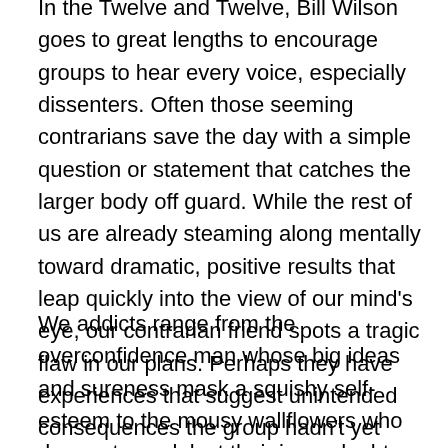In the Twelve and Twelve, Bill Wilson goes to great lengths to encourage groups to hear every voice, especially dissenters. Often those seeming contrarians save the day with a simple question or statement that catches the larger body off guard. While the rest of us are already steaming along mentally toward dramatic, positive results that leap quickly into the view of our mind's eye, our contrarian friend spots a tragic flaw in our plans. Perhaps they have experiences that suggest unintended consequences the group hadn't yet identified. Or they recognize where our designs may compromise one of the Traditions and make us less effective at working on our primary purpose.
We addicts range from the overconfidence man whose big ideas and sureness mask a squishy self-esteem to the mousy wallflowers who dare not speak lest their inner doubts take root in someone else's mind. We are prone to